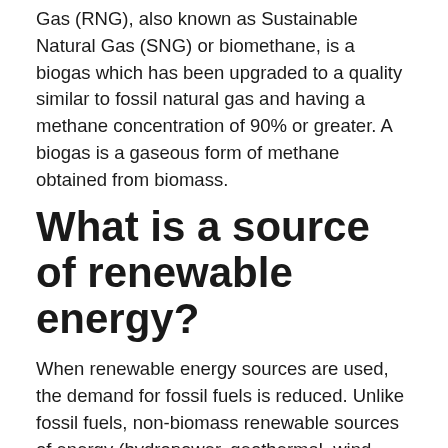Gas (RNG), also known as Sustainable Natural Gas (SNG) or biomethane, is a biogas which has been upgraded to a quality similar to fossil natural gas and having a methane concentration of 90% or greater. A biogas is a gaseous form of methane obtained from biomass.
What is a source of renewable energy?
When renewable energy sources are used, the demand for fossil fuels is reduced. Unlike fossil fuels, non-biomass renewable sources of energy (hydropower, geothermal, wind, and solar) do not directly emit greenhouse gases.